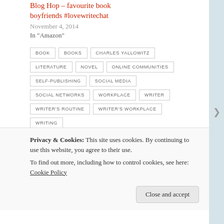Blog Hop – favourite book boyfriends #lovewritechat
November 4, 2014
In "Amazon"
BOOK
BOOKS
CHARLES YALLOWITZ
LITERATURE
NOVEL
ONLINE COMMUNITIES
SELF-PUBLISHING
SOCIAL MEDIA
SOCIAL NETWORKS
WORKPLACE
WRITER
WRITER'S ROUTINE
WRITER'S WORKPLACE
WRITING
Privacy & Cookies: This site uses cookies. By continuing to use this website, you agree to their use.
To find out more, including how to control cookies, see here: Cookie Policy
Close and accept